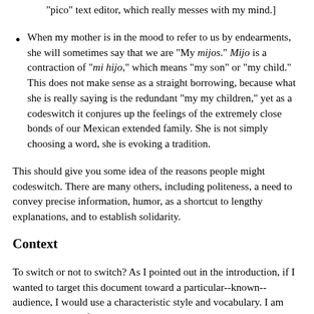"pico" text editor, which really messes with my mind.]
When my mother is in the mood to refer to us by endearments, she will sometimes say that we are "My mijos." Mijo is a contraction of "mi hijo," which means "my son" or "my child." This does not make sense as a straight borrowing, because what she is really saying is the redundant "my my children," yet as a codeswitch it conjures up the feelings of the extremely close bonds of our Mexican extended family. She is not simply choosing a word, she is evoking a tradition.
This should give you some idea of the reasons people might codeswitch. There are many others, including politeness, a need to convey precise information, humor, as a shortcut to lengthy explanations, and to establish solidarity.
Context
To switch or not to switch? As I pointed out in the introduction, if I wanted to target this document toward a particular--known--audience, I would use a characteristic style and vocabulary. I am currently using a format that I believe to be the most accessible to the widest possible variety of readers. Elsewhere on my home page I expect specific audiences, and so I alter my technique